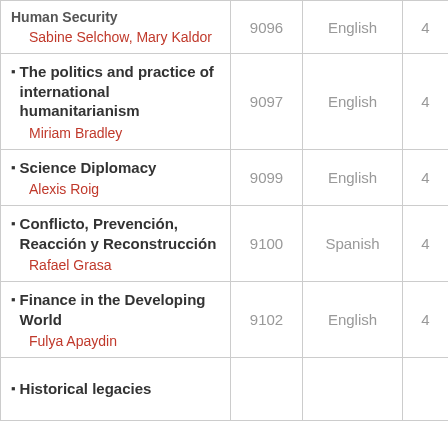| Course | Code | Language | Credits |
| --- | --- | --- | --- |
| Human Security
Sabine Selchow, Mary Kaldor | 9096 | English | 4 |
| The politics and practice of international humanitarianism
Miriam Bradley | 9097 | English | 4 |
| Science Diplomacy
Alexis Roig | 9099 | English | 4 |
| Conflicto, Prevención, Reacción y Reconstrucción
Rafael Grasa | 9100 | Spanish | 4 |
| Finance in the Developing World
Fulya Apaydin | 9102 | English | 4 |
| Historical legacies... |  |  |  |